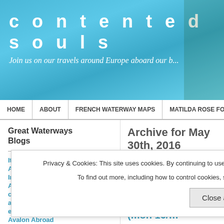contentedsouls — Join us on our travels around Europe aboard our b...
HOME | ABOUT | FRENCH WATERWAY MAPS | MATILDA ROSE FOR SALE | P...
Great Waterways Blogs
Itchy Feet
Alex Grehy Fiction
Indigo Dreaming
Aurigny Aperos
contentedsouls
andywindyblog
entre-deux-ecluses
Avalon Abroad
Archive for May 30th, 2016
St Bouize and St Satur/St Thibault/Sancerre (mon 16/…
Posted by contentedsouls on 30/05/2016
Privacy & Cookies: This site uses cookies. By continuing to use this website, you agree to their use.
To find out more, including how to control cookies, see here: Cookie Policy
Close and accept
he aint and he did have a small misfortune.